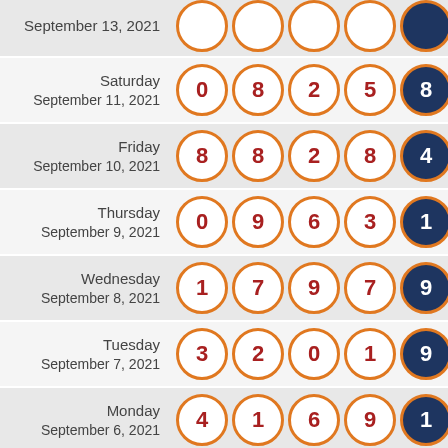| Date | Ball 1 | Ball 2 | Ball 3 | Ball 4 | Ball 5 (special) |
| --- | --- | --- | --- | --- | --- |
| Saturday September 13, 2021 |  |  |  |  |  |
| Saturday September 11, 2021 | 0 | 8 | 2 | 5 | 8 |
| Friday September 10, 2021 | 8 | 8 | 2 | 8 | 4 |
| Thursday September 9, 2021 | 0 | 9 | 6 | 3 | 1 |
| Wednesday September 8, 2021 | 1 | 7 | 9 | 7 | 9 |
| Tuesday September 7, 2021 | 3 | 2 | 0 | 1 | 9 |
| Monday September 6, 2021 | 4 | 1 | 6 | 9 | 1 |
| Saturday September 4, 2021 | 9 | 5 | 7 | 7 | 9 |